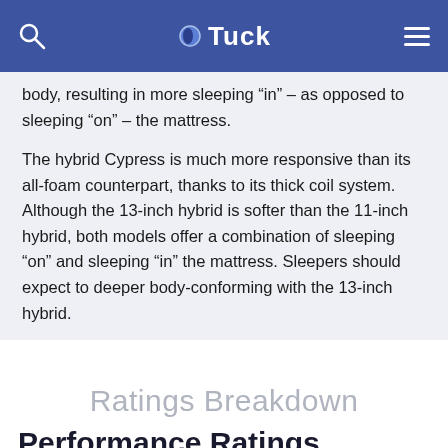Tuck
body, resulting in more sleeping “in” – as opposed to sleeping “on” – the mattress.
The hybrid Cypress is much more responsive than its all-foam counterpart, thanks to its thick coil system. Although the 13-inch hybrid is softer than the 11-inch hybrid, both models offer a combination of sleeping “on” and sleeping “in” the mattress. Sleepers should expect to deeper body-conforming with the 13-inch hybrid.
Ratings Breakdown
Performance Ratings